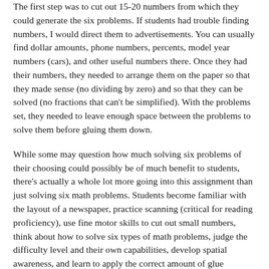The first step was to cut out 15-20 numbers from which they could generate the six problems. If students had trouble finding numbers, I would direct them to advertisements. You can usually find dollar amounts, phone numbers, percents, model year numbers (cars), and other useful numbers there. Once they had their numbers, they needed to arrange them on the paper so that they made sense (no dividing by zero) and so that they can be solved (no fractions that can't be simplified). With the problems set, they needed to leave enough space between the problems to solve them before gluing them down.
While some may question how much solving six problems of their choosing could possibly be of much benefit to students, there's actually a whole lot more going into this assignment than just solving six math problems. Students become familiar with the layout of a newspaper, practice scanning (critical for reading proficiency), use fine motor skills to cut out small numbers, think about how to solve six types of math problems, judge the difficulty level and their own capabilities, develop spatial awareness, and learn to apply the correct amount of glue (another fine motor skill, and something 90% of kids need to practice more often). All this before they ever solve the math problems. Best of all, most of my